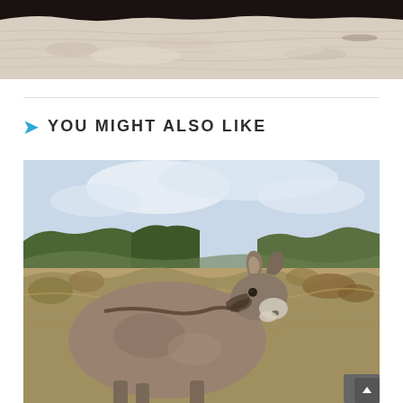[Figure (photo): Top portion of a photograph showing white/beige rocky cliff face with dark rocks at the top and a sandy or chalky white sedimentary rock formation below]
YOU MIGHT ALSO LIKE
[Figure (photo): Photograph of a donkey standing in a dry, brushy landscape. The donkey faces the camera slightly turned, showing its grey and brown fur, long ears, and white muzzle. The background shows dry shrubs, trees, and a partly cloudy sky.]